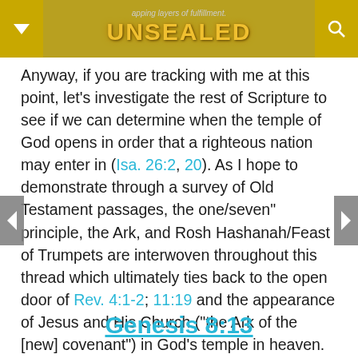apping layers of fulfillment. UNSEALED
Anyway, if you are tracking with me at this point, let's investigate the rest of Scripture to see if we can determine when the temple of God opens in order that a righteous nation may enter in (Isa. 26:2, 20). As I hope to demonstrate through a survey of Old Testament passages, the one/seven" principle, the Ark, and Rosh Hashanah/Feast of Trumpets are interwoven throughout this thread which ultimately ties back to the open door of Rev. 4:1-2; 11:19 and the appearance of Jesus and His Church ("the Ark of the [new] covenant") in God's temple in heaven.
Genesis 8:13